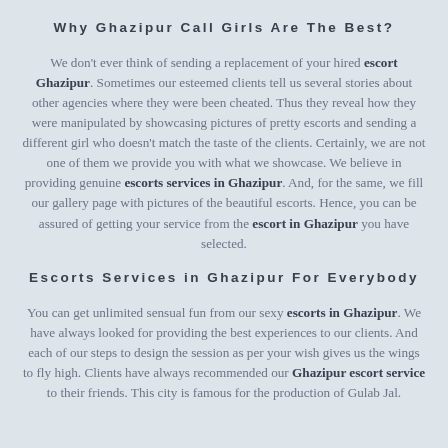Why Ghazipur Call Girls Are The Best?
We don't ever think of sending a replacement of your hired escort Ghazipur. Sometimes our esteemed clients tell us several stories about other agencies where they were been cheated. Thus they reveal how they were manipulated by showcasing pictures of pretty escorts and sending a different girl who doesn't match the taste of the clients. Certainly, we are not one of them we provide you with what we showcase. We believe in providing genuine escorts services in Ghazipur. And, for the same, we fill our gallery page with pictures of the beautiful escorts. Hence, you can be assured of getting your service from the escort in Ghazipur you have selected.
Escorts Services in Ghazipur For Everybody
You can get unlimited sensual fun from our sexy escorts in Ghazipur. We have always looked for providing the best experiences to our clients. And each of our steps to design the session as per your wish gives us the wings to fly high. Clients have always recommended our Ghazipur escort service to their friends. This city is famous for the production of Gulab Jal.